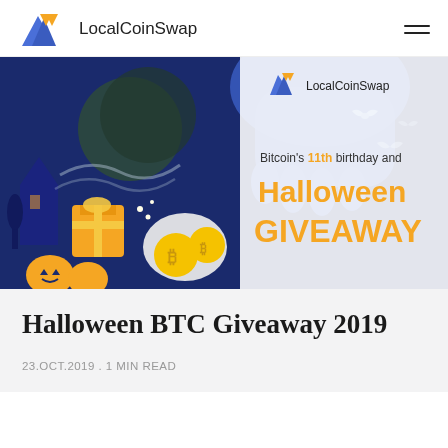LocalCoinSwap
[Figure (illustration): Halloween Bitcoin Giveaway promotional banner. Dark blue Halloween scene with ghost hands, moon, bats, orange gift boxes with Bitcoin coins, pumpkins. Right side shows LocalCoinSwap logo and text: Bitcoin's 11th birthday and Halloween GIVEAWAY in orange.]
Halloween BTC Giveaway 2019
23.OCT.2019 . 1 MIN READ